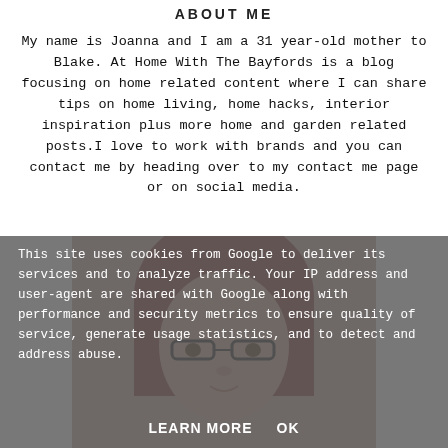ABOUT ME
My name is Joanna and I am a 31 year-old mother to Blake. At Home With The Bayfords is a blog focusing on home related content where I can share tips on home living, home hacks, interior inspiration plus more home and garden related posts.I love to work with brands and you can contact me by heading over to my contact me page or on social media.
[Figure (photo): Photo of a woman with red hair and glasses, partially visible, overlaid by a cookie consent dialog]
This site uses cookies from Google to deliver its services and to analyze traffic. Your IP address and user-agent are shared with Google along with performance and security metrics to ensure quality of service, generate usage statistics, and to detect and address abuse.
LEARN MORE    OK